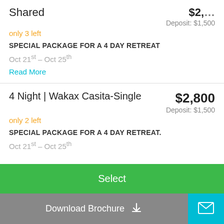Shared
$2,500 (partial, cropped top)
Deposit: $1,500
only 3 left
SPECIAL PACKAGE FOR A 4 DAY RETREAT
Oct 21st – Oct 25th
Read More
4 Night | Wakax Casita-Single
$2,800
Deposit: $1,500
only 2 left
SPECIAL PACKAGE FOR A 4 DAY RETREAT.
Oct 21st – Oct 25th
Select
Download Brochure
Email icon